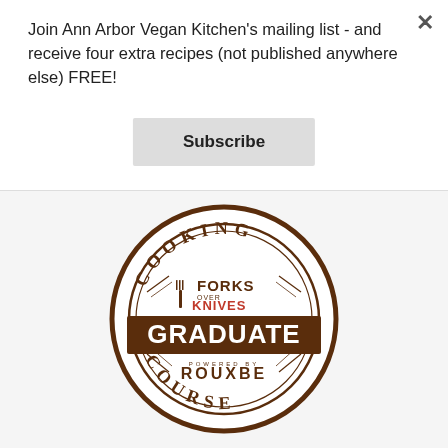Join Ann Arbor Vegan Kitchen's mailing list - and receive four extra recipes (not published anywhere else) FREE!
Subscribe
[Figure (logo): Circular badge logo for 'Cooking Course - Forks Over Knives Graduate - Powered by Rouxbe'. Brown circle with white GRADUATE text in large bold letters across the center. FORKS OVER KNIVES logo in red and black at top interior. COOKING arcs along top, COURSE arcs along bottom. ROUXBE in bold capitals below center with 'powered by' in small caps above it.]